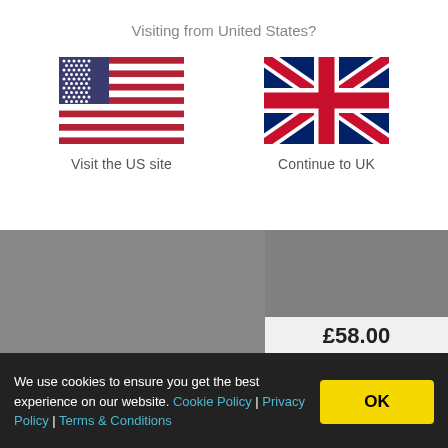Visiting from United States?
[Figure (illustration): US flag SVG illustration]
Visit the US site
[Figure (illustration): UK flag SVG illustration]
Continue to UK
£58.00
2022 Dakine Mens Mission Loose Fit Rashguard Hoodie M652DAK0003 - Terra Khaki
We use cookies to ensure you get the best experience on our website. Cookie Policy | Privacy Policy | Terms & Conditions